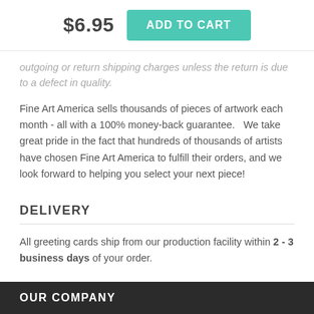$6.95  ADD TO CART
outgoing or return shipping charges unless the return is due to a defect in quality.
Fine Art America sells thousands of pieces of artwork each month - all with a 100% money-back guarantee.   We take great pride in the fact that hundreds of thousands of artists have chosen Fine Art America to fulfill their orders, and we look forward to helping you select your next piece!
DELIVERY
All greeting cards ship from our production facility within 2 - 3 business days of your order.
OUR COMPANY